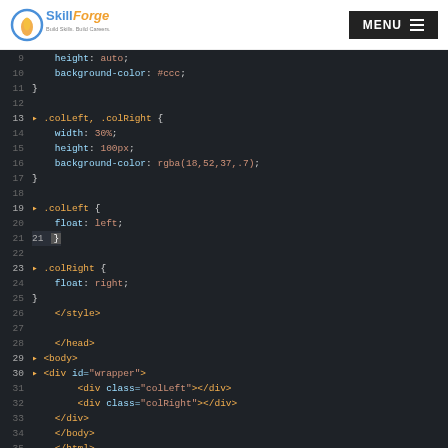SkillForge | MENU
[Figure (screenshot): Code editor screenshot showing CSS and HTML code, lines 9–35, on dark background. Content includes .colLeft/.colRight CSS rules with width, height, background-color properties, and HTML markup with wrapper div containing colLeft and colRight divs.]
The code above results in the page below. Two nested containers inside an outer wrapper. That outer wrapper should be 100% of the pages width, as tall as whatever it contains (height: auto), and it has a light gray background color.